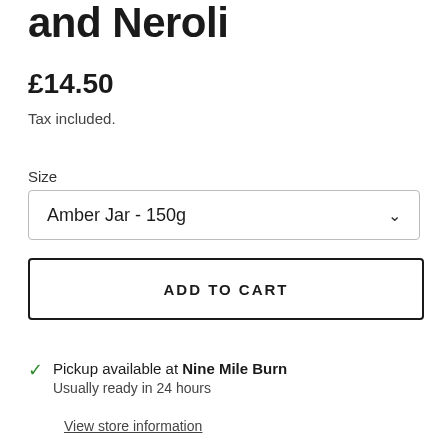and Neroli
£14.50
Tax included.
Size
Amber Jar - 150g
ADD TO CART
Pickup available at Nine Mile Burn
Usually ready in 24 hours
View store information